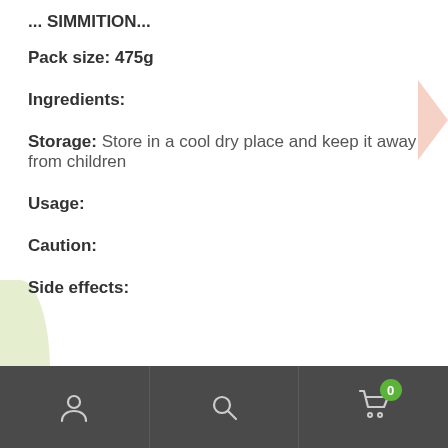...SIMMITION...
Pack size: 475g
Ingredients:
Storage: Store in a cool dry place and keep it away from children
Usage:
Caution:
Side effects:
Navigation bar with user, search, and cart (0) icons